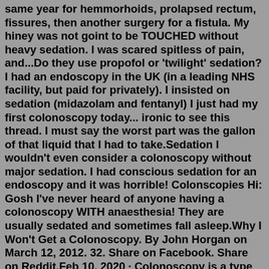same year for hemmorhoids, prolapsed rectum, fissures, then another surgery for a fistula. My hiney was not goint to be TOUCHED without heavy sedation. I was scared spitless of pain, and...Do they use propofol or 'twilight' sedation? I had an endoscopy in the UK (in a leading NHS facility, but paid for privately). I insisted on sedation (midazolam and fentanyl) I just had my first colonoscopy today... ironic to see this thread. I must say the worst part was the gallon of that liquid that I had to take.Sedation I wouldn't even consider a colonoscopy without major sedation. I had conscious sedation for an endoscopy and it was horrible! Colonscopies Hi: Gosh I've never heard of anyone having a colonoscopy WITH anaesthesia! They are usually sedated and sometimes fall asleep.Why I Won't Get a Colonoscopy. By John Horgan on March 12, 2012. 32. Share on Facebook. Share on Reddit.Feb 10, 2020 · Colonoscopy is a type of examination for a doctor to detect any slight issues or problems on a person's large intestine or colon as well as the rectum. The patient must expect that this